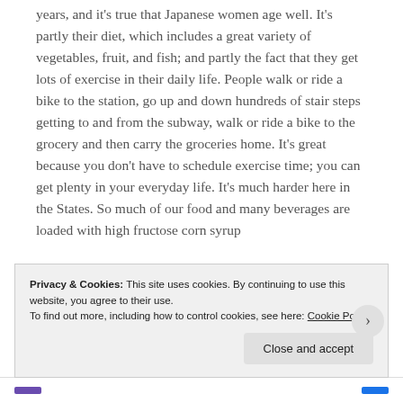years, and it's true that Japanese women age well. It's partly their diet, which includes a great variety of vegetables, fruit, and fish; and partly the fact that they get lots of exercise in their daily life. People walk or ride a bike to the station, go up and down hundreds of stair steps getting to and from the subway, walk or ride a bike to the grocery and then carry the groceries home. It's great because you don't have to schedule exercise time; you can get plenty in your everyday life. It's much harder here in the States. So much of our food and many beverages are loaded with high fructose corn syrup
Privacy & Cookies: This site uses cookies. By continuing to use this website, you agree to their use.
To find out more, including how to control cookies, see here: Cookie Policy
Close and accept